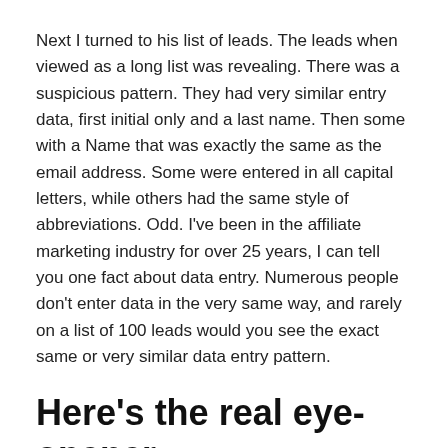Next I turned to his list of leads. The leads when viewed as a long list was revealing. There was a suspicious pattern. They had very similar entry data, first initial only and a last name. Then some with a Name that was exactly the same as the email address. Some were entered in all capital letters, while others had the same style of abbreviations. Odd. I've been in the affiliate marketing industry for over 25 years, I can tell you one fact about data entry. Numerous people don't enter data in the very same way, and rarely on a list of 100 leads would you see the exact same or very similar data entry pattern.
Here's the real eye-opener.
When I analyzed if any of these "sign ups" had done anything after they entered their name / email to the optin